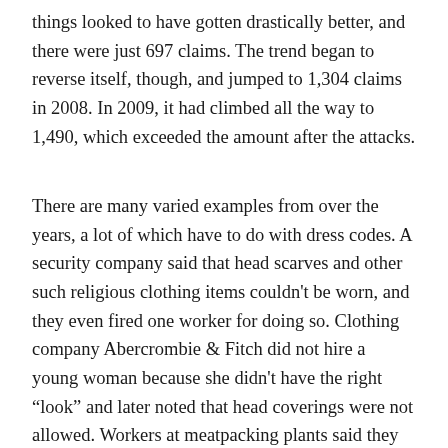things looked to have gotten drastically better, and there were just 697 claims. The trend began to reverse itself, though, and jumped to 1,304 claims in 2008. In 2009, it had climbed all the way to 1,490, which exceeded the amount after the attacks.
There are many varied examples from over the years, a lot of which have to do with dress codes. A security company said that head scarves and other such religious clothing items couldn't be worn, and they even fired one worker for doing so. Clothing company Abercrombie & Fitch did not hire a young woman because she didn't have the right “look” and later noted that head coverings were not allowed. Workers at meatpacking plants said they were discriminated against during Ramadan, which is a time of fasting. Disney was sued for telling a worker to wear a hat as part of a uniform, rather than a headscarf.